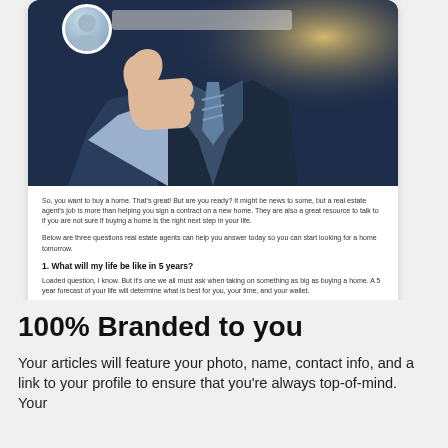[Figure (photo): Screenshot of a real estate article card showing a businessman in a suit giving a thumbs-up with a profile photo avatar in the upper-left corner.]
So, you want to buy a home. That's great! But are you ready? It might be news to some, but a real estate agent's job is more than helping you sign a contract on a new home. They are also a great resource to talk to if you are not sure if buying a home is the right next step in your life.
Below are three questions real estate agents can help you answer today so you can start looking for a home tomorrow.
1. What will my life be like in 5 years?
Loaded question, I know. But it's one we all must ask when taking on something as big as buying a home. A 5 year forecast of your life will determine what is best for you, your time, and your wallet.
If you are not sure, a good real estate agent can help guide you through a set of questions that will help determine if what you want now will be what you want 5 years from now.
100% Branded to you
Your articles will feature your photo, name, contact info, and a link to your profile to ensure that you're always top-of-mind. Your